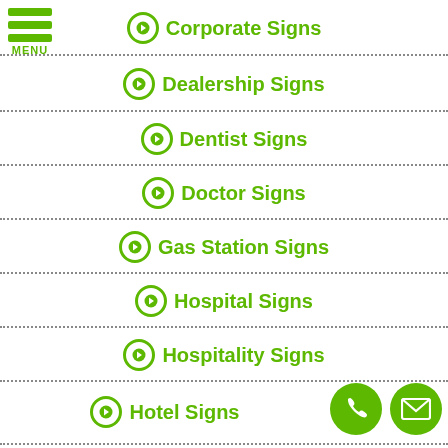➔ Corporate Signs
➔ Dealership Signs
➔ Dentist Signs
➔ Doctor Signs
➔ Gas Station Signs
➔ Hospital Signs
➔ Hospitality Signs
➔ Hotel Signs
[Figure (illustration): Green phone icon circle button and green email/envelope icon circle button at bottom right]